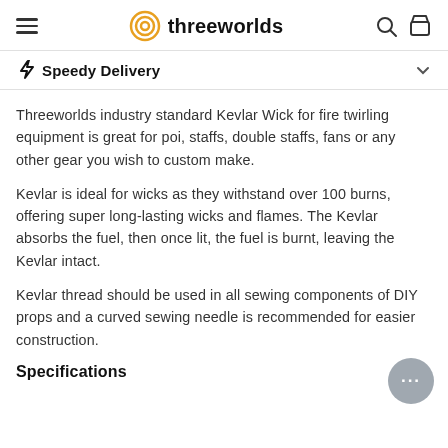threeworlds
Speedy Delivery
Threeworlds industry standard Kevlar Wick for fire twirling equipment is great for poi, staffs, double staffs, fans or any other gear you wish to custom make.
Kevlar is ideal for wicks as they withstand over 100 burns, offering super long-lasting wicks and flames. The Kevlar absorbs the fuel, then once lit, the fuel is burnt, leaving the Kevlar intact.
Kevlar thread should be used in all sewing components of DIY props and a curved sewing needle is recommended for easier construction.
Specifications